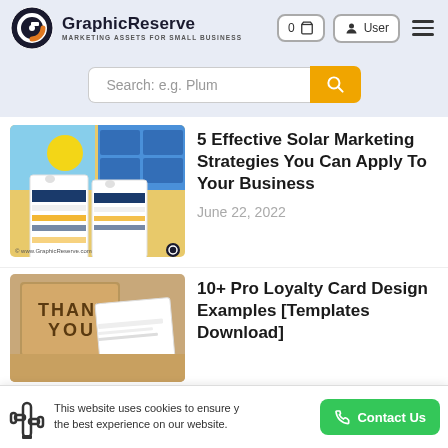GraphicReserve — Marketing Assets for Small Business
Search: e.g. Plum
5 Effective Solar Marketing Strategies You Can Apply To Your Business
June 22, 2022
10+ Pro Loyalty Card Design Examples [Templates Download]
This website uses cookies to ensure you get the best experience on our website.